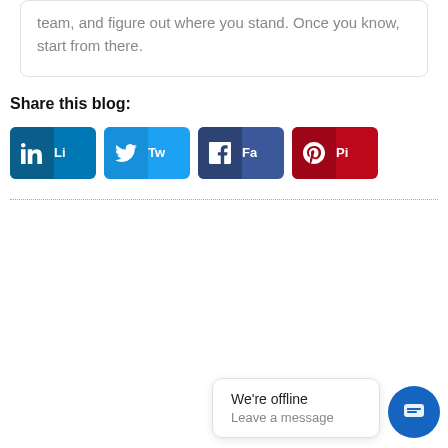team, and figure out where you stand. Once you know, start from there.
Share this blog:
[Figure (infographic): Social share buttons for LinkedIn, Twitter, Facebook, and Pinterest]
We're offline
Leave a message